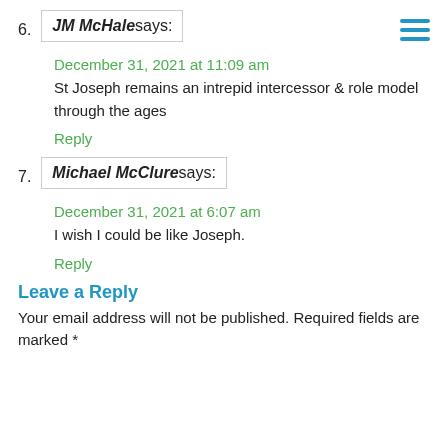6. JM McHale says:
December 31, 2021 at 11:09 am
St Joseph remains an intrepid intercessor & role model through the ages
Reply
7. Michael McClure says:
December 31, 2021 at 6:07 am
I wish I could be like Joseph.
Reply
Leave a Reply
Your email address will not be published. Required fields are marked *